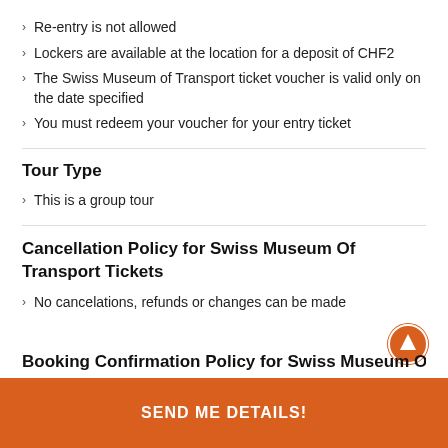Re-entry is not allowed
Lockers are available at the location for a deposit of CHF2
The Swiss Museum of Transport ticket voucher is valid only on the date specified
You must redeem your voucher for your entry ticket
Tour Type
This is a group tour
Cancellation Policy for Swiss Museum Of Transport Tickets
No cancelations, refunds or changes can be made
SEND ME DETAILS!